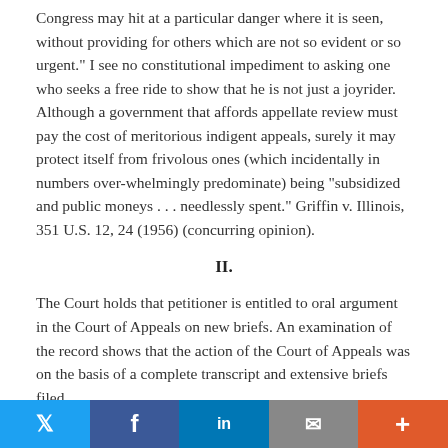Congress as amounts to a denial of due process. . . . Congress may hit at a particular danger where it is seen, without providing for others which are not so evident or so urgent." I see no constitutional impediment to asking one who seeks a free ride to show that he is not just a joyrider. Although a government that affords appellate review must pay the cost of meritorious indigent appeals, surely it may protect itself from frivolous ones (which incidentally in numbers over-whelmingly predominate) being "subsidized and public moneys . . . needlessly spent." Griffin v. Illinois, 351 U.S. 12, 24 (1956) (concurring opinion).
II.
The Court holds that petitioner is entitled to oral argument in the Court of Appeals on new briefs. An examination of the record shows that the action of the Court of Appeals was on the basis of a complete transcript and extensive briefs filed